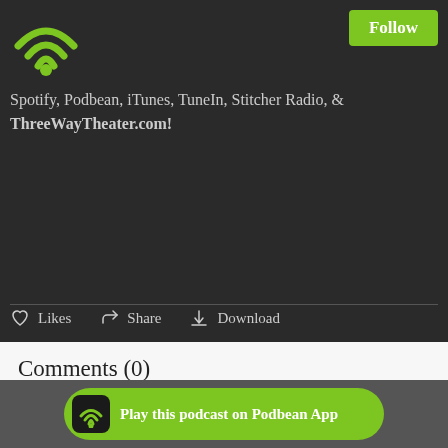[Figure (logo): Green WiFi/podcast signal icon on dark background, top-left corner]
Follow
Spotify, Podbean, iTunes, TuneIn, Stitcher Radio, & ThreeWayTheater.com!
Likes  Share  Download
Comments (0)
To leave or reply comments, please download free Podbean App.
Play this podcast on Podbean App